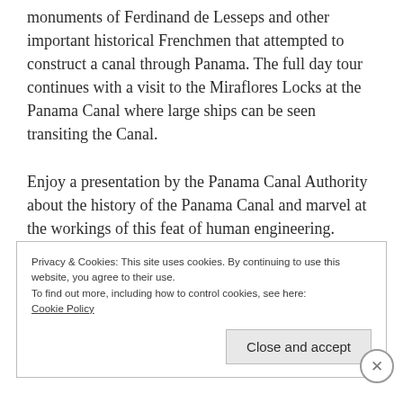monuments of Ferdinand de Lesseps and other important historical Frenchmen that attempted to construct a canal through Panama. The full day tour continues with a visit to the Miraflores Locks at the Panama Canal where large ships can be seen transiting the Canal.
Enjoy a presentation by the Panama Canal Authority about the history of the Panama Canal and marvel at the workings of this feat of human engineering. Lunch will be served at a local restaurant. The tour will continue to the
Privacy & Cookies: This site uses cookies. By continuing to use this website, you agree to their use.
To find out more, including how to control cookies, see here:
Cookie Policy